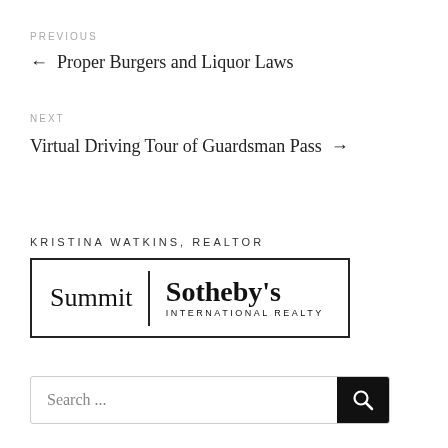PREVIOUS
← Proper Burgers and Liquor Laws
NEXT
Virtual Driving Tour of Guardsman Pass →
KRISTINA WATKINS, REALTOR
[Figure (logo): Summit | Sotheby's International Realty logo in a rectangular border]
Search ...